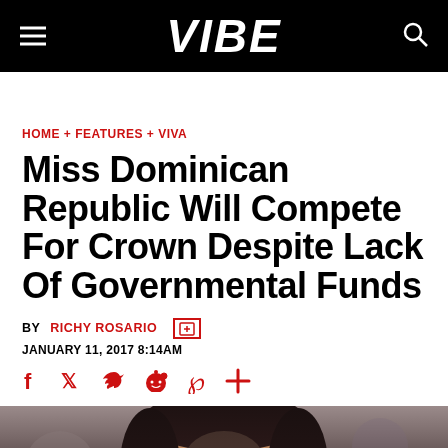VIBE
HOME + FEATURES + VIVA
Miss Dominican Republic Will Compete For Crown Despite Lack Of Governmental Funds
BY RICHY ROSARIO
JANUARY 11, 2017 8:14AM
[Figure (photo): Social sharing icons: Facebook, Twitter, Reddit, Pinterest, and a plus/more icon in red]
[Figure (photo): Close-up photo of a woman (Miss Dominican Republic), dark hair, glamorous makeup, looking at camera]